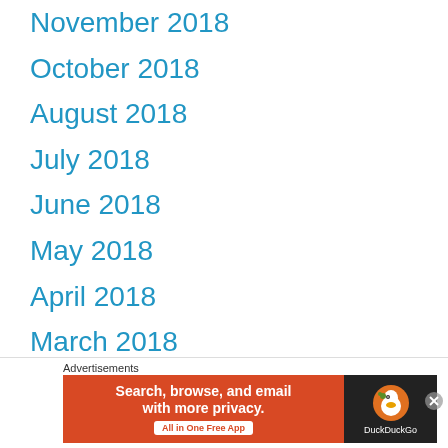November 2018
October 2018
August 2018
July 2018
June 2018
May 2018
April 2018
March 2018
February 2016
January 2016
December 2015
[Figure (other): DuckDuckGo advertisement banner: orange section with text 'Search, browse, and email with more privacy. All in One Free App' and dark section with DuckDuckGo logo and duck icon]